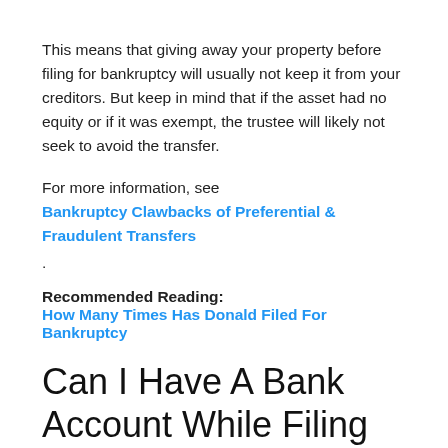This means that giving away your property before filing for bankruptcy will usually not keep it from your creditors. But keep in mind that if the asset had no equity or if it was exempt, the trustee will likely not seek to avoid the transfer.
For more information, see
Bankruptcy Clawbacks of Preferential & Fraudulent Transfers
.
Recommended Reading:
How Many Times Has Donald Filed For Bankruptcy
Can I Have A Bank Account While Filing Bankruptcy